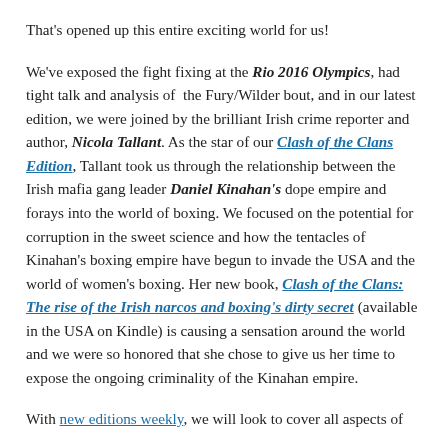That's opened up this entire exciting world for us!
We've exposed the fight fixing at the Rio 2016 Olympics, had tight talk and analysis of the Fury/Wilder bout, and in our latest edition, we were joined by the brilliant Irish crime reporter and author, Nicola Tallant. As the star of our Clash of the Clans Edition, Tallant took us through the relationship between the Irish mafia gang leader Daniel Kinahan's dope empire and forays into the world of boxing. We focused on the potential for corruption in the sweet science and how the tentacles of Kinahan's boxing empire have begun to invade the USA and the world of women's boxing. Her new book, Clash of the Clans: The rise of the Irish narcos and boxing's dirty secret (available in the USA on Kindle) is causing a sensation around the world and we were so honored that she chose to give us her time to expose the ongoing criminality of the Kinahan empire.
With new editions weekly, we will look to cover all aspects of